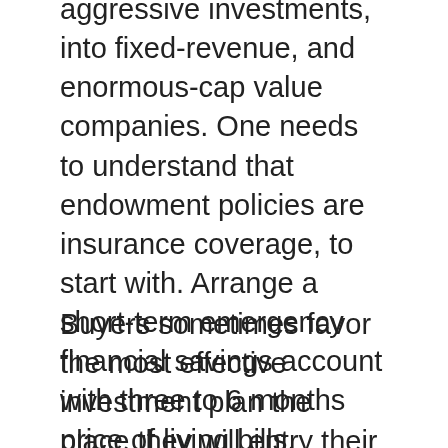aggressive investments, into fixed-revenue, and enormous-cap value companies. One needs to understand that endowment policies are insurance coverage, to start with. Arrange a short-term emergency financial savings account with three to 6 months price of living bills.
Buyers sometimes favor the most effective investment plan the place they will entry their cash during emergencies. There have and are, many get wealthy